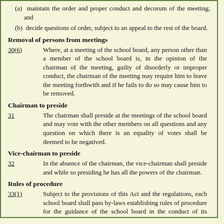(a) maintain the order and proper conduct and decorum of the meeting; and
(b) decide questions of order, subject to an appeal to the rest of the board.
Removal of persons from meetings
30(6)   Where, at a meeting of the school board, any person other than a member of the school board is, in the opinion of the chairman of the meeting, guilty of disorderly or improper conduct, the chairman of the meeting may require him to leave the meeting forthwith and if he fails to do so may cause him to be removed.
Chairman to preside
31   The chairman shall preside at the meetings of the school board and may vote with the other members on all questions and any question on which there is an equality of votes shall be deemed to be negatived.
Vice-chairman to preside
32   In the absence of the chairman, the vice-chairman shall preside and while so presiding he has all the powers of the chairman.
Rules of procedure
33(1)   Subject to the provisions of this Act and the regulations, each school board shall pass by-laws establishing rules of procedure for the guidance of the school board in the conduct of its meetings.